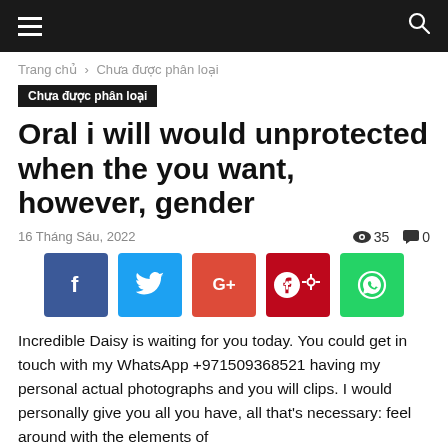Navigation bar with hamburger menu and search icon
Trang chủ › Chưa được phân loại
Chưa được phân loại
Oral i will would unprotected when the you want, however, gender
16 Tháng Sáu, 2022   35   0
[Figure (infographic): Social share buttons: Facebook (blue), Twitter (light blue), Google+ (red-orange), Pinterest (dark red), WhatsApp (green)]
Incredible Daisy is waiting for you today. You could get in touch with my WhatsApp +971509368521 having my personal actual photographs and you will clips. I would personally give you all you have, all that's necessary: feel around with the elements of